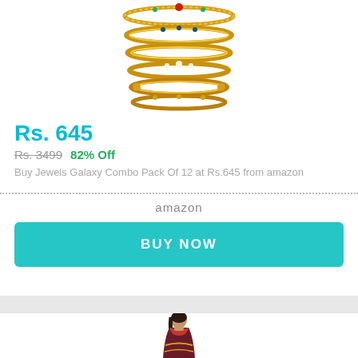[Figure (photo): Stack of gold bangles/bracelets jewelry combo pack]
Rs. 645
Rs. 3499   82% Off
Buy Jewels Galaxy Combo Pack Of 12 at Rs.645 from amazon
amazon
BUY NOW
[Figure (photo): Woman wearing a dark red/maroon saree, product image for next listing]